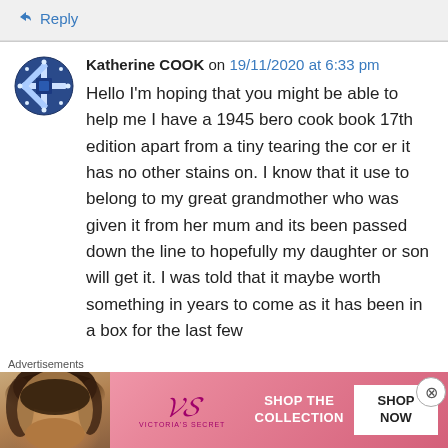↳ Reply
Katherine COOK on 19/11/2020 at 6:33 pm
Hello I'm hoping that you might be able to help me I have a 1945 bero cook book 17th edition apart from a tiny tearing the cor er it has no other stains on. I know that it use to belong to my great grandmother who was given it from her mum and its been passed down the line to hopefully my daughter or son will get it. I was told that it maybe worth something in years to come as it has been in a box for the last few
Advertisements
[Figure (photo): Victoria's Secret advertisement banner with model and SHOP THE COLLECTION text]